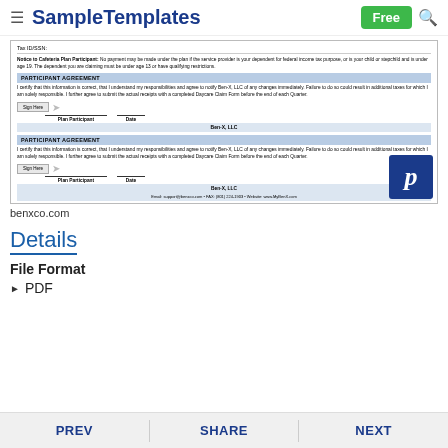SampleTemplates — Free
[Figure (screenshot): Screenshot of a Cafeteria Plan Participant Agreement form showing Tax ID/SSN field, notice text, two participant agreement sections with sign here buttons, Plan Participant and Date signature lines, Ben-X LLC company name, and footer with email, fax, and website. A Pinterest button overlay appears in the bottom right.]
benxco.com
Details
File Format
PDF
PREV  SHARE  NEXT